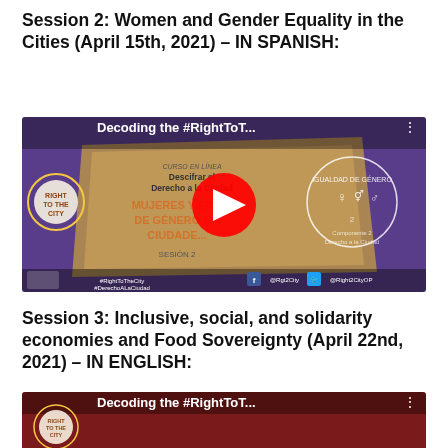Session 2: Women and Gender Equality in the Cities (April 15th, 2021) – IN SPANISH:
[Figure (screenshot): YouTube video thumbnail for 'Decoding the #RightToT...' showing Session 2 content about Mujeres y Igualdad de Género en las Ciudades, with purple background, play button overlay, and social media handles]
Session 3: Inclusive, social, and solidarity economies and Food Sovereignty (April 22nd, 2021) – IN ENGLISH:
[Figure (screenshot): YouTube video thumbnail for 'Decoding the #RightToT...' Session 3 with dark red background, partially visible]